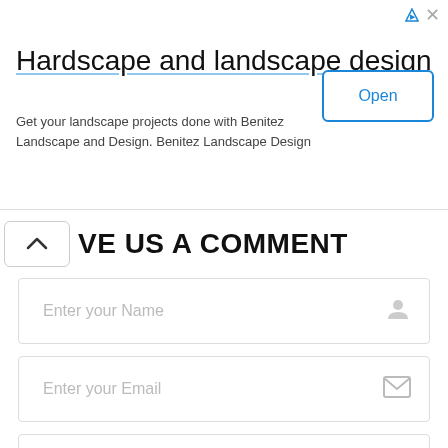[Figure (screenshot): Advertisement banner for Benitez Landscape and Design with title 'Hardscape and landscape design', body text, and an Open button]
VE US A COMMENT
Enter your Name
Enter your Email
Enter your Phone